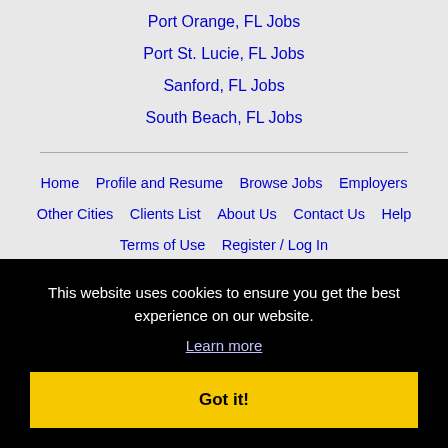Port Orange, FL Jobs
Port St. Lucie, FL Jobs
Sanford, FL Jobs
South Beach, FL Jobs
Home   Profile and Resume   Browse Jobs   Employers   Other Cities   Clients List   About Us   Contact Us   Help   Terms of Use   Register / Log In
This website uses cookies to ensure you get the best experience on our website. Learn more Got it!